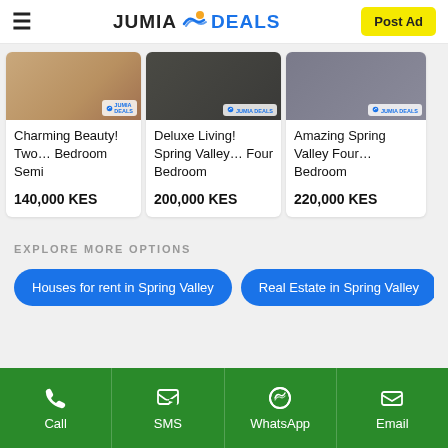JUMIA DEALS — Post Ad
[Figure (screenshot): Product listing card with photo — Charming Beauty! Two… Bedroom Semi — 140,000 KES]
[Figure (screenshot): Product listing card with photo — Deluxe Living! Spring Valley… Four Bedroom — 200,000 KES]
[Figure (screenshot): Product listing card with photo — Amazing Spring Valley Four… Bedroom — 220,000 KES]
EXPLORE MORE OPTIONS
Houses for rent in Spring Valley
Real Estate in Spring Valley
Hou…
Call  SMS  WhatsApp  Email